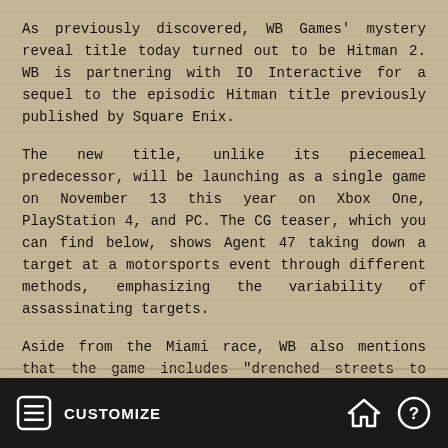As previously discovered, WB Games' mystery reveal title today turned out to be Hitman 2. WB is partnering with IO Interactive for a sequel to the episodic Hitman title previously published by Square Enix.
The new title, unlike its piecemeal predecessor, will be launching as a single game on November 13 this year on Xbox One, PlayStation 4, and PC. The CG teaser, which you can find below, shows Agent 47 taking down a target at a motorsports event through different methods, emphasizing the variability of assassinating targets.
Aside from the Miami race, WB also mentions that the game includes "drenched streets to dark and dangerous rainforests" as part of its international tour. Agent 47 is tasked with unraveling the militia and identity of the mysterious Shadow Client introduced in the previous title.
CUSTOMIZE